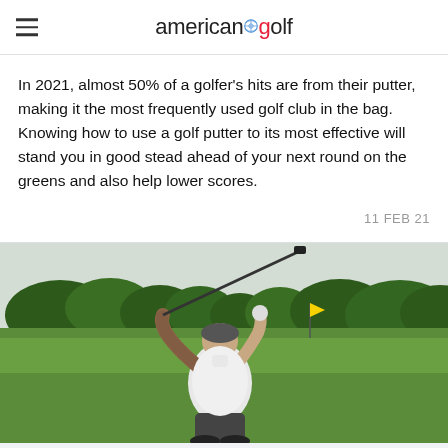american golf
In 2021, almost 50% of a golfer's hits are from their putter, making it the most frequently used golf club in the bag. Knowing how to use a golf putter to its most effective will stand you in good stead ahead of your next round on the greens and also help lower scores.
11 FEB 21
[Figure (photo): A golfer viewed from behind mid-swing, holding an iron club above their shoulder. The golfer is on a golf course with green fairway, trees in background, and a yellow flag visible in the distance. The golfer is wearing a white shirt and has a tattooed left arm.]